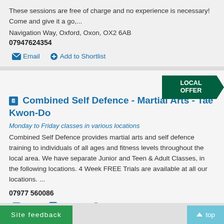These sessions are free of charge and no experience is necessary!  Come and give it a go,...
Navigation Way, Oxford, Oxon, OX2 6AB
07947624354
Email
Add to Shortlist
Combined Self Defence - Martial Arts - Tae Kwon-Do
Monday to Friday classes in various locations
Combined Self Defence provides martial arts and self defence training to individuals of all ages and fitness levels throughout the local area. We have separate Junior and Teen & Adult Classes, in the following locations.  4 Week FREE Trials are available at all our locations. ...
07977 560086
Email
Website
Add to Shortlist
Site feedback